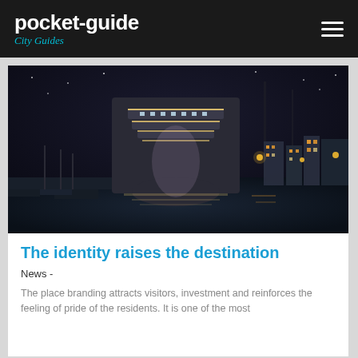pocket-guide | City Guides
[Figure (photo): Night photograph of a large cruise ship docked at a harbor, with sailboats and illuminated waterfront buildings visible in the background]
The identity raises the destination
News -
The place branding attracts visitors, investment and reinforces the feeling of pride of the residents.  It is one of the most